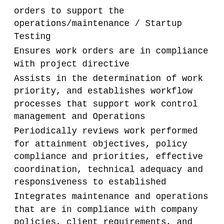orders to support the operations/maintenance / Startup Testing
Ensures work orders are in compliance with project directive
Assists in the determination of work priority, and establishes workflow processes that support work control management and Operations
Periodically reviews work performed for attainment objectives, policy compliance and priorities, effective coordination, technical adequacy and responsiveness to established
Integrates maintenance and operations that are in compliance with company policies, client requirements, and governmental
Ensures all safety and environmental